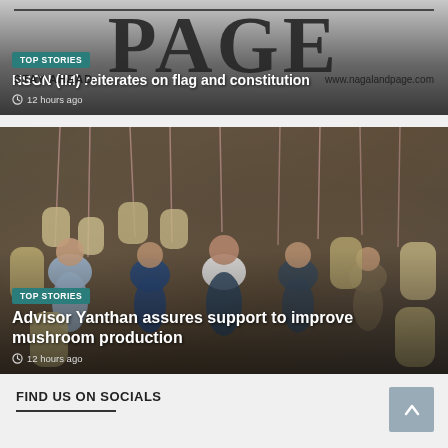[Figure (photo): Nagaland Page newspaper header with 'PAGE' text logo, 'STAY AHEAD' tagline and www.nagalandpage.com URL. TOP STORIES badge visible.]
NSCN (IM) reiterates on flag and constitution
12 hours ago
[Figure (photo): Group of five men standing in a mushroom farm with hanging mushroom bags in the background. TOP STORIES badge visible.]
Advisor Yanthan assures support to improve mushroom production
12 hours ago
FIND US ON SOCIALS